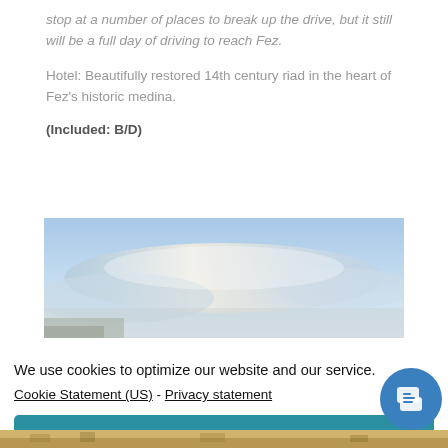stop at a number of places to break up the drive, but it still will be a full day of driving to reach Fez.
Hotel: Beautifully restored 14th century riad in the heart of Fez's historic medina.
(Included: B/D)
[Figure (photo): Sky and clouds landscape photo banner]
We use cookies to optimize our website and our service.
Cookie Statement (US) - Privacy statement
[Figure (screenshot): Accept button for cookie consent]
[Figure (photo): Bottom strip of landscape/desert photo]